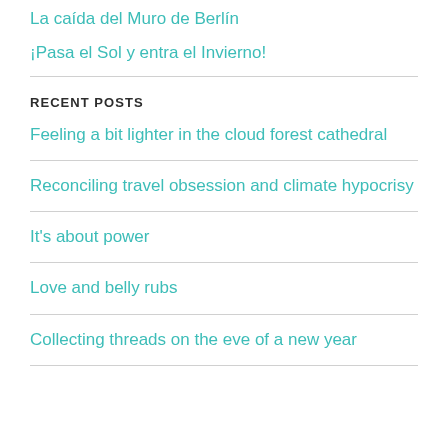La caída del Muro de Berlín
¡Pasa el Sol y entra el Invierno!
RECENT POSTS
Feeling a bit lighter in the cloud forest cathedral
Reconciling travel obsession and climate hypocrisy
It's about power
Love and belly rubs
Collecting threads on the eve of a new year